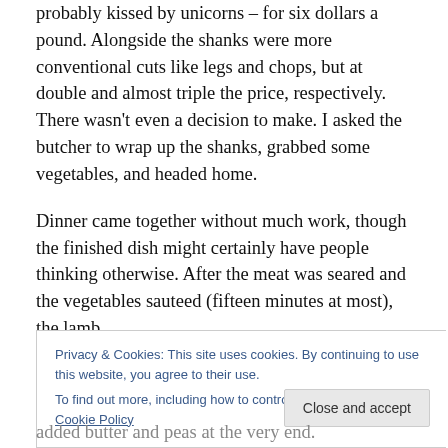probably kissed by unicorns – for six dollars a pound. Alongside the shanks were more conventional cuts like legs and chops, but at double and almost triple the price, respectively. There wasn't even a decision to make. I asked the butcher to wrap up the shanks, grabbed some vegetables, and headed home.
Dinner came together without much work, though the finished dish might certainly have people thinking otherwise. After the meat was seared and the vegetables sauteed (fifteen minutes at most), the lamb
Privacy & Cookies: This site uses cookies. By continuing to use this website, you agree to their use.
To find out more, including how to control cookies, see here: Cookie Policy
Close and accept
added butter and peas at the very end.